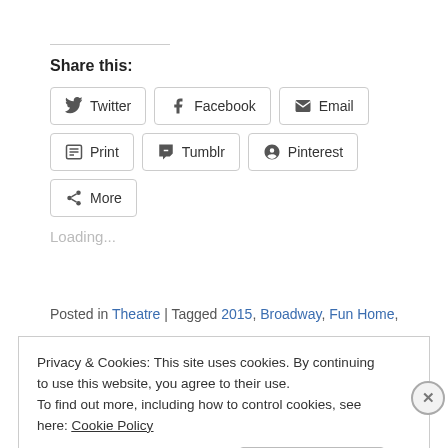Share this:
Twitter  Facebook  Email  Print  Tumblr  Pinterest  More
Loading...
Posted in Theatre | Tagged 2015, Broadway, Fun Home,
Privacy & Cookies: This site uses cookies. By continuing to use this website, you agree to their use. To find out more, including how to control cookies, see here: Cookie Policy
Close and accept